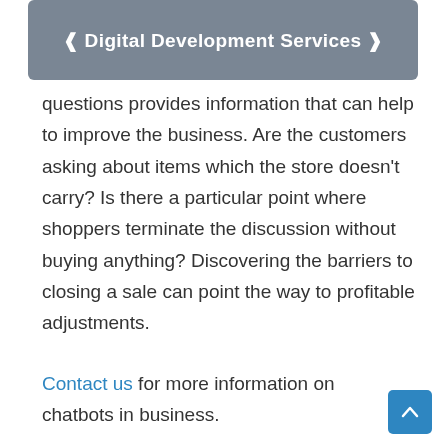❰ Digital Development Services ❱
questions provides information that can help to improve the business. Are the customers asking about items which the store doesn't carry? Is there a particular point where shoppers terminate the discussion without buying anything? Discovering the barriers to closing a sale can point the way to profitable adjustments.
Contact us for more information on chatbots in business.